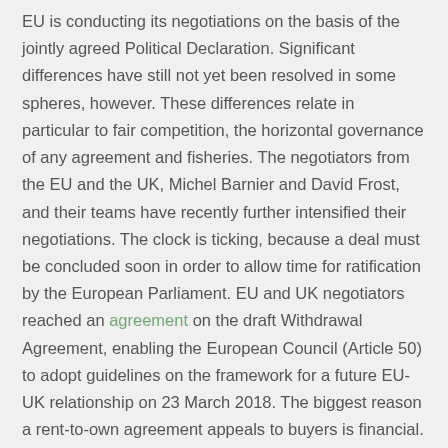EU is conducting its negotiations on the basis of the jointly agreed Political Declaration. Significant differences have still not yet been resolved in some spheres, however. These differences relate in particular to fair competition, the horizontal governance of any agreement and fisheries. The negotiators from the EU and the UK, Michel Barnier and David Frost, and their teams have recently further intensified their negotiations. The clock is ticking, because a deal must be concluded soon in order to allow time for ratification by the European Parliament. EU and UK negotiators reached an agreement on the draft Withdrawal Agreement, enabling the European Council (Article 50) to adopt guidelines on the framework for a future EU-UK relationship on 23 March 2018. The biggest reason a rent-to-own agreement appeals to buyers is financial. If buyers don't yet have the down payment or the monthly income to qualify for a mortgage but believe they will within the next couple of years, a lease option allows the rent-to-own to the option that...